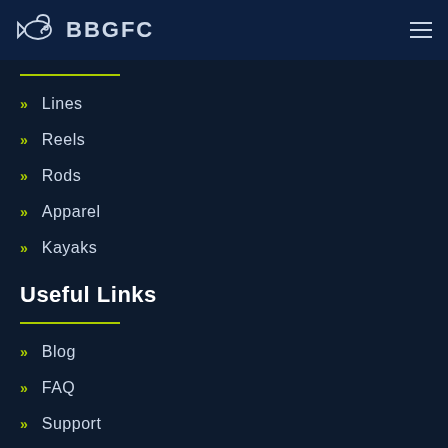BBGFC
Lines
Reels
Rods
Apparel
Kayaks
Useful Links
Blog
FAQ
Support